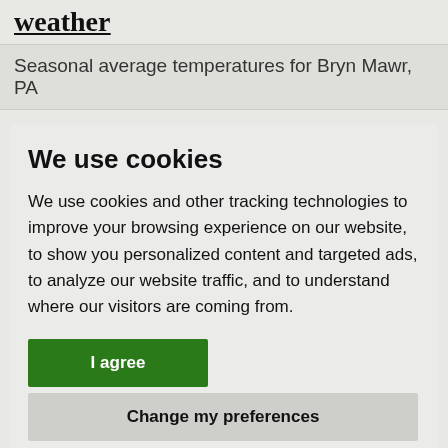weather
Seasonal average temperatures for Bryn Mawr, PA
We use cookies
We use cookies and other tracking technologies to improve your browsing experience on our website, to show you personalized content and targeted ads, to analyze our website traffic, and to understand where our visitors are coming from.
I agree
Change my preferences